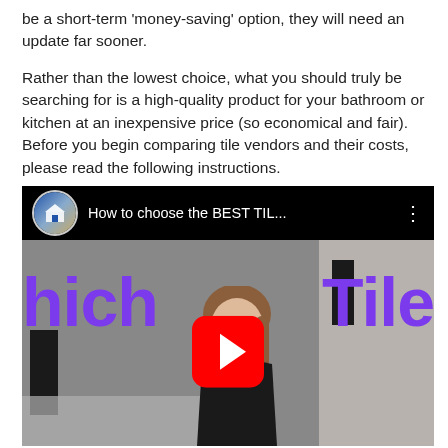be a short-term 'money-saving' option, they will need an update far sooner.
Rather than the lowest choice, what you should truly be searching for is a high-quality product for your bathroom or kitchen at an inexpensive price (so economical and fair). Before you begin comparing tile vendors and their costs, please read the following instructions.
[Figure (screenshot): YouTube video thumbnail showing 'How to choose the BEST TIL...' with purple 'Which Tile' text overlay, a woman presenter, and a red YouTube play button in the center.]